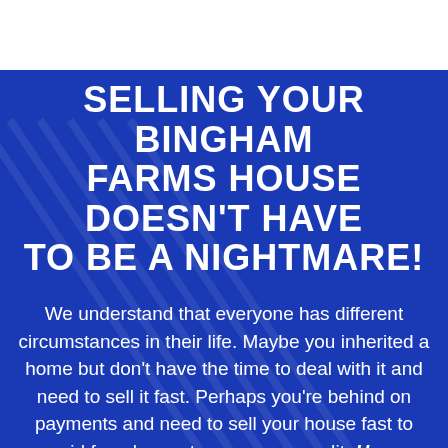SELLING YOUR BINGHAM FARMS HOUSE DOESN'T HAVE TO BE A NIGHTMARE!
We understand that everyone has different circumstances in their life. Maybe you inherited a home but don't have the time to deal with it and need to sell it fast. Perhaps you're behind on payments and need to sell your house fast to avoid foreclosure to save your credit. Home Buyer For Cash is the leading, local company when it comes to buying houses from owners who need to sell today. Not everyone can wait months